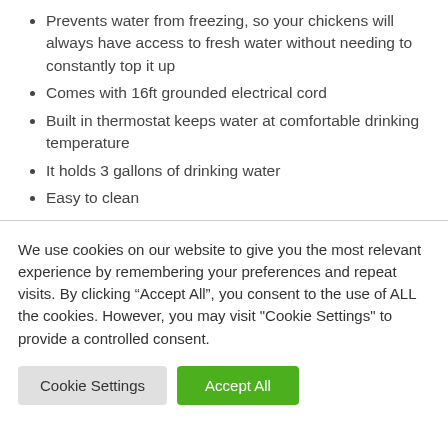Prevents water from freezing, so your chickens will always have access to fresh water without needing to constantly top it up
Comes with 16ft grounded electrical cord
Built in thermostat keeps water at comfortable drinking temperature
It holds 3 gallons of drinking water
Easy to clean
We use cookies on our website to give you the most relevant experience by remembering your preferences and repeat visits. By clicking “Accept All”, you consent to the use of ALL the cookies. However, you may visit "Cookie Settings" to provide a controlled consent.